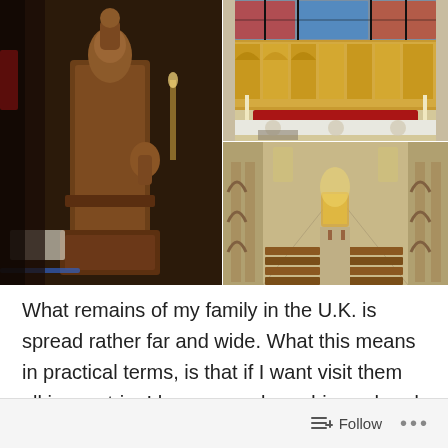[Figure (photo): Three photos of church/cathedral interiors: left photo shows an ornate carved wooden lectern or pulpit with figurative carvings in a dark church interior; top right shows a gilded reredos altar with red frontal and colorful stained glass windows above; bottom right shows the long nave of a Gothic cathedral with pointed arches, columns, wooden pews and a lit altar in the distance.]
What remains of my family in the U.K. is spread rather far and wide. What this means in practical terms, is that if I want visit them all in one trip, I have some long drives ahead of me.
Follow ...